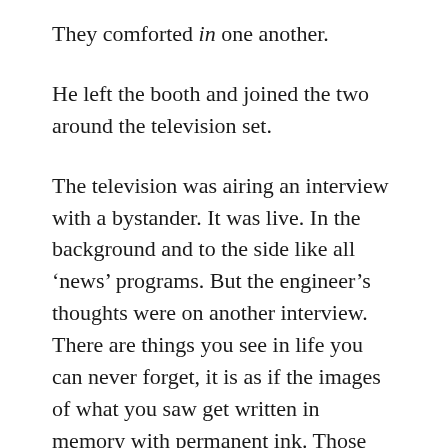They comforted in one another.
He left the booth and joined the two around the television set.
The television was airing an interview with a bystander. It was live. In the background and to the side like all ‘news’ programs. But the engineer’s thoughts were on another interview. There are things you see in life you can never forget, it is as if the images of what you saw get written in memory with permanent ink. Those memories are like scars for the mind, and sometimes haunt. They haunt like the memory of a child in diapers running gleefully away from danger